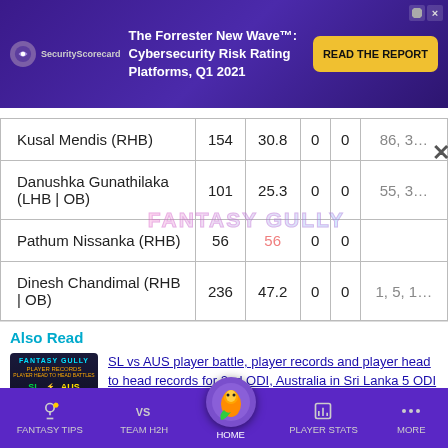[Figure (screenshot): SecurityScorecard advertisement banner: The Forrester New Wave™: Cybersecurity Risk Rating Platforms, Q1 2021. READ THE REPORT button.]
| Player | Col2 | Col3 | Col4 | Col5 | Col6 |
| --- | --- | --- | --- | --- | --- |
| Kusal Mendis (RHB) | 154 | 30.8 | 0 | 0 | 86, 3… |
| Danushka Gunathilaka (LHB | OB) | 101 | 25.3 | 0 | 0 | 55, 3… |
| Pathum Nissanka (RHB) | 56 | 56 | 0 | 0 |  |
| Dinesh Chandimal (RHB | OB) | 236 | 47.2 | 0 | 0 | 1, 5, 10… |
Also Read
[Figure (screenshot): Fantasy Gully thumbnail image showing SL vs AUS match graphic]
SL vs AUS player battle, player records and player head to head records for 2nd ODI, Australia in Sri Lanka 5 ODI Series, 2022
FANTASY TIPS | TEAM H2H | HOME | PLAYER STATS | MORE